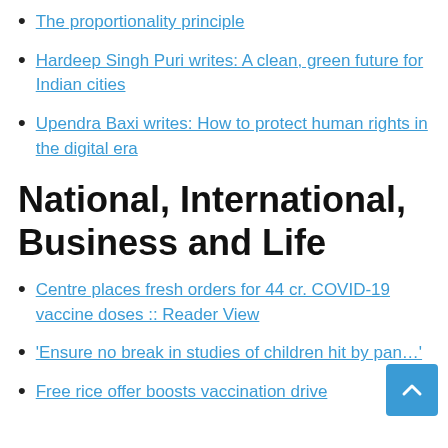The proportionality principle
Hardeep Singh Puri writes: A clean, green future for Indian cities
Upendra Baxi writes: How to protect human rights in the digital era
National, International, Business and Life
Centre places fresh orders for 44 cr. COVID-19 vaccine doses :: Reader View
‘Ensure no break in studies of children hit by pan…’
Free rice offer boosts vaccination drive